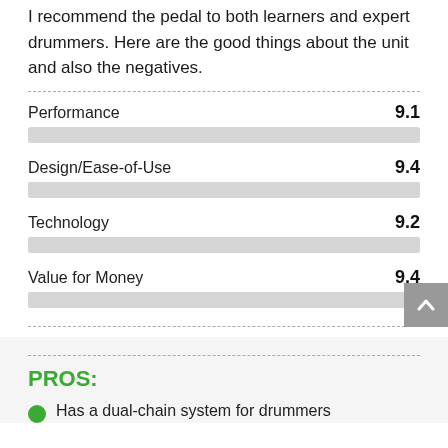I recommend the pedal to both learners and expert drummers. Here are the good things about the unit and also the negatives.
[Figure (bar-chart): Ratings]
PROS:
Has a dual-chain system for drummers